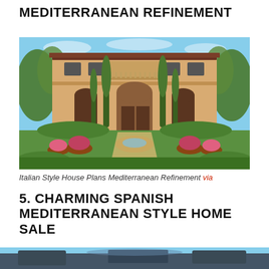MEDITERRANEAN REFINEMENT
[Figure (photo): Exterior photo of a large two-story Italian/Mediterranean style house with stucco facade, arched entryways, balcony with railing, surrounded by cypress trees and lush garden with flower-lined circular fountain in foreground]
Italian Style House Plans Mediterranean Refinement via
5. CHARMING SPANISH MEDITERRANEAN STYLE HOME SALE
[Figure (photo): Partial exterior photo of a Spanish Mediterranean style home, bottom of page, partially visible]